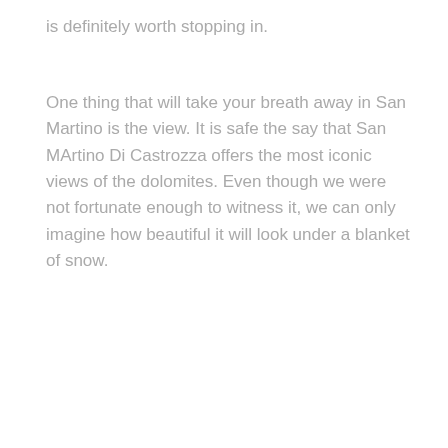is definitely worth stopping in.
One thing that will take your breath away in San Martino is the view. It is safe the say that San MArtino Di Castrozza offers the most iconic views of the dolomites. Even though we were not fortunate enough to witness it, we can only imagine how beautiful it will look under a blanket of snow.